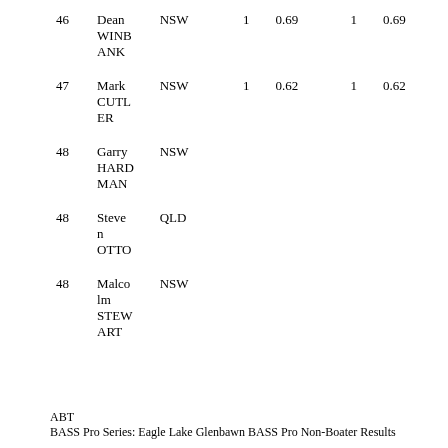| Rank | Name | State |  |  |  |  |
| --- | --- | --- | --- | --- | --- | --- |
| 46 | Dean WINBANK | NSW | 1 | 0.69 | 1 | 0.69 |
| 47 | Mark CUTLER | NSW | 1 | 0.62 | 1 | 0.62 |
| 48 | Garry HARDMAN | NSW |  |  |  |  |
| 48 | Steven OTTO | QLD |  |  |  |  |
| 48 | Malcolm STEWART | NSW |  |  |  |  |
ABT
BASS Pro Series: Eagle Lake Glenbawn BASS Pro Non-Boater Results